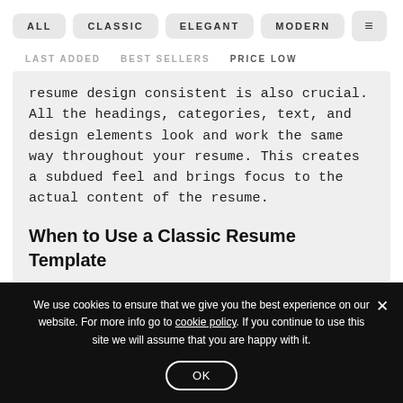ALL   CLASSIC   ELEGANT   MODERN   ≡
LAST ADDED   BEST SELLERS   PRICE LOW
resume design consistent is also crucial. All the headings, categories, text, and design elements look and work the same way throughout your resume. This creates a subdued feel and brings focus to the actual content of the resume.
When to Use a Classic Resume Template
We use cookies to ensure that we give you the best experience on our website. For more info go to cookie policy. If you continue to use this site we will assume that you are happy with it.